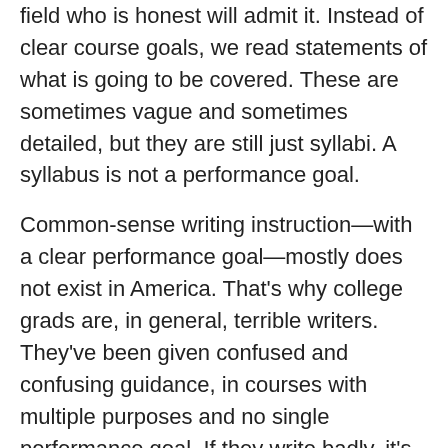field who is honest will admit it. Instead of clear course goals, we read statements of what is going to be covered. These are sometimes vague and sometimes detailed, but they are still just syllabi. A syllabus is not a performance goal.
Common-sense writing instruction—with a clear performance goal—mostly does not exist in America. That's why college grads are, in general, terrible writers. They've been given confused and confusing guidance, in courses with multiple purposes and no single performance goal. If they write badly, it's because we've trained them badly.
A common-sense writing course must have a clear performance goal. Otherwise it won't